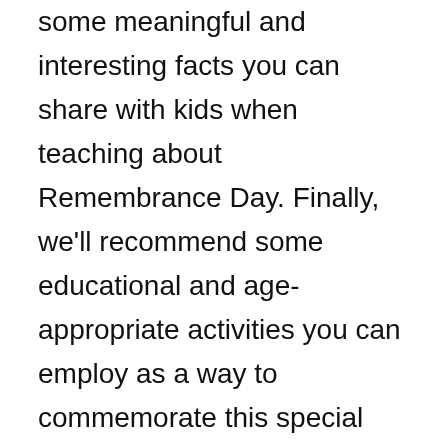some meaningful and interesting facts you can share with kids when teaching about Remembrance Day. Finally, we'll recommend some educational and age-appropriate activities you can employ as a way to commemorate this special day with your child or students.
Explaining Remembrance Day for Kids
Some schools have annual ceremonies for Remembrance Day where all the students gather and some of them read poems or